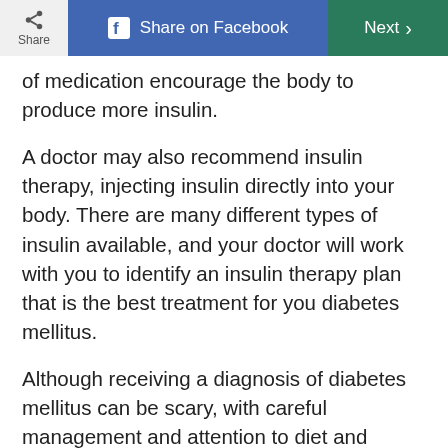Share | Share on Facebook | Next
of medication encourage the body to produce more insulin.
A doctor may also recommend insulin therapy, injecting insulin directly into your body. There are many different types of insulin available, and your doctor will work with you to identify an insulin therapy plan that is the best treatment for you diabetes mellitus.
Although receiving a diagnosis of diabetes mellitus can be scary, with careful management and attention to diet and exercise this chronic health condition can be well con-trolled